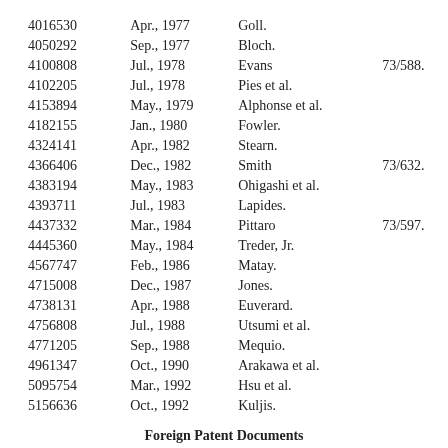| Patent No. | Date | Inventor | Class |
| --- | --- | --- | --- |
| 4016530 | Apr., 1977 | Goll. |  |
| 4050292 | Sep., 1977 | Bloch. |  |
| 4100808 | Jul., 1978 | Evans | 73/588. |
| 4102205 | Jul., 1978 | Pies et al. |  |
| 4153894 | May., 1979 | Alphonse et al. |  |
| 4182155 | Jan., 1980 | Fowler. |  |
| 4324141 | Apr., 1982 | Stearn. |  |
| 4366406 | Dec., 1982 | Smith | 73/632. |
| 4383194 | May., 1983 | Ohigashi et al. |  |
| 4393711 | Jul., 1983 | Lapides. |  |
| 4437332 | Mar., 1984 | Pittaro | 73/597. |
| 4445360 | May., 1984 | Treder, Jr. |  |
| 4567747 | Feb., 1986 | Matay. |  |
| 4715008 | Dec., 1987 | Jones. |  |
| 4738131 | Apr., 1988 | Euverard. |  |
| 4756808 | Jul., 1988 | Utsumi et al. |  |
| 4771205 | Sep., 1988 | Mequio. |  |
| 4961347 | Oct., 1990 | Arakawa et al. |  |
| 5095754 | Mar., 1992 | Hsu et al. |  |
| 5156636 | Oct., 1992 | Kuljis. |  |
Foreign Patent Documents